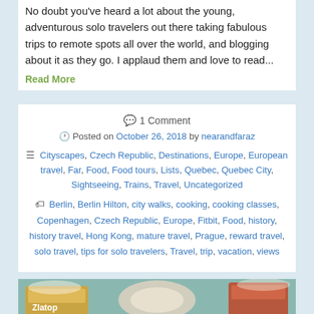No doubt you've heard a lot about the young, adventurous solo travelers out there taking fabulous trips to remote spots all over the world, and blogging about it as they go. I applaud them and love to read...
Read More
1 Comment
Posted on October 26, 2018 by nearandfaraz
Cityscapes, Czech Republic, Destinations, Europe, European travel, Far, Food, Food tours, Lists, Quebec, Quebec City, Sightseeing, Trains, Travel, Uncategorized
Berlin, Berlin Hilton, city walks, cooking, cooking classes, Copenhagen, Czech Republic, Europe, Fitbit, Food, history, history travel, Hong Kong, mature travel, Prague, reward travel, solo travel, tips for solo travelers, Travel, trip, vacation, views
[Figure (photo): Photo of beer glasses including Zlatopramen and Staropramen beer mugs on a table]